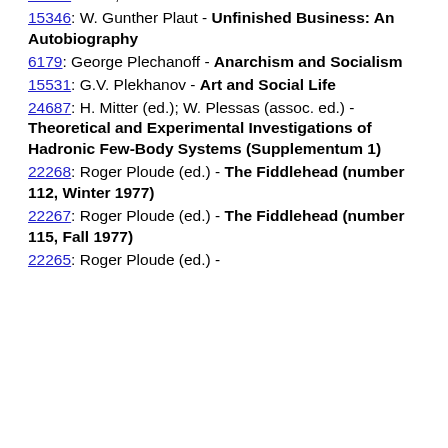28406: Plato - Selected Dialogues
15158: Plaut, W. Gunther - The Letter
15346: W. Gunther Plaut - Unfinished Business: An Autobiography
6179: George Plechanoff - Anarchism and Socialism
15531: G.V. Plekhanov - Art and Social Life
24687: H. Mitter (ed.); W. Plessas (assoc. ed.) - Theoretical and Experimental Investigations of Hadronic Few-Body Systems (Supplementum 1)
22268: Roger Ploude (ed.) - The Fiddlehead (number 112, Winter 1977)
22267: Roger Ploude (ed.) - The Fiddlehead (number 115, Fall 1977)
22265: Roger Ploude (ed.) -